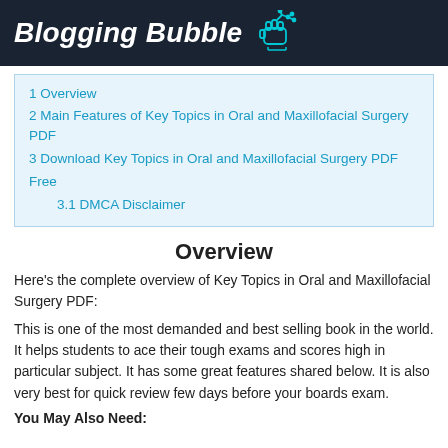Blogging Bubble
1 Overview
2 Main Features of Key Topics in Oral and Maxillofacial Surgery PDF
3 Download Key Topics in Oral and Maxillofacial Surgery PDF Free
3.1 DMCA Disclaimer
Overview
Here's the complete overview of Key Topics in Oral and Maxillofacial Surgery PDF:
This is one of the most demanded and best selling book in the world. It helps students to ace their tough exams and scores high in particular subject. It has some great features shared below. It is also very best for quick review few days before your boards exam.
You May Also Need: